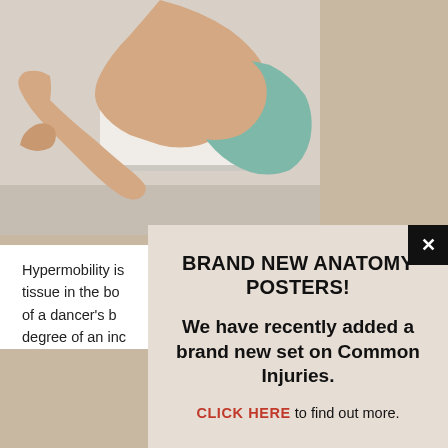[Figure (photo): A person in a teal sports bra extending their arm outward in a dance or stretching pose, photographed against a white barre/wall background]
Hypermobility is tissue in the bo of a dancer's b degree of an inc
[Figure (screenshot): Popup modal with beige/tan background containing advertisement for Brand New Anatomy Posters with a close button]
BRAND NEW ANATOMY POSTERS!
We have recently added a brand new set on Common Injuries.
CLICK HERE to find out more.